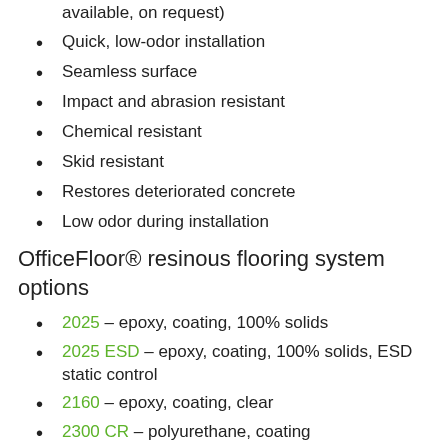available, on request)
Quick, low-odor installation
Seamless surface
Impact and abrasion resistant
Chemical resistant
Skid resistant
Restores deteriorated concrete
Low odor during installation
OfficeFloor® resinous flooring system options
2025 – epoxy, coating, 100% solids
2025 ESD – epoxy, coating, 100% solids, ESD static control
2160 – epoxy, coating, clear
2300 CR – polyurethane, coating
2400 – Chemical Resistant Urethane (optional) Note: Chemical Resistant Urethane is VOC compliant, however, during the curing process there is a strong